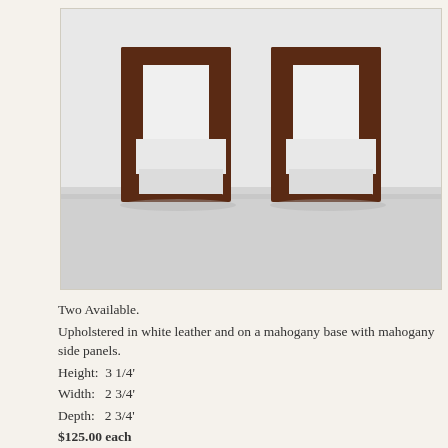[Figure (photo): Two white leather club chairs with dark mahogany wood frames and side panels, photographed on a white background. The chairs face slightly toward each other.]
Two Available.
Upholstered in white leather and on a mahogany base with mahogany side panels.
Height:  3 1/4'
Width:   2 3/4'
Depth:   2 3/4'
$125.00 each